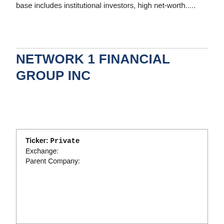base includes institutional investors, high net-worth.....
NETWORK 1 FINANCIAL GROUP INC
| Ticker: | Private |
| Exchange: |  |
| Parent Company: |  |